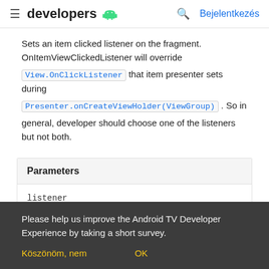≡ developers [android logo] 🔍 Bejelentkezés
Sets an item clicked listener on the fragment. OnItemViewClickedListener will override View.OnClickListener that item presenter sets during Presenter.onCreateViewHolder(ViewGroup) . So in general, developer should choose one of the listeners but not both.
| Parameters |
| --- |
| listener |
Please help us improve the Android TV Developer Experience by taking a short survey.
Köszönöm, nem    OK